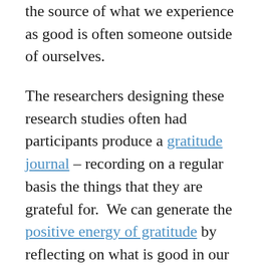the source of what we experience as good is often someone outside of ourselves.
The researchers designing these research studies often had participants produce a gratitude journal – recording on a regular basis the things that they are grateful for. We can generate the positive energy of gratitude by reflecting on what is good in our past life or in the present.
As we grow in mindfulness through gratitude meditation, we train our brain to recognise what is good in our life, to appreciate the contribution of others to our happiness and mental health and to express that gratitude